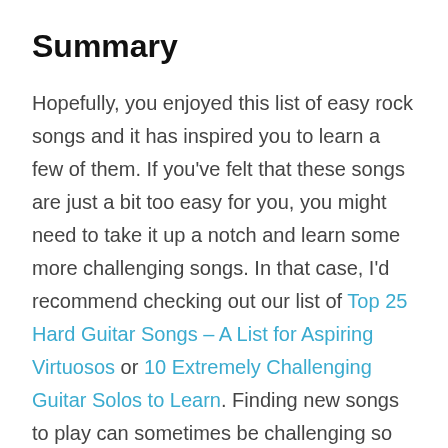Summary
Hopefully, you enjoyed this list of easy rock songs and it has inspired you to learn a few of them. If you've felt that these songs are just a bit too easy for you, you might need to take it up a notch and learn some more challenging songs. In that case, I'd recommend checking out our list of Top 25 Hard Guitar Songs – A List for Aspiring Virtuosos or 10 Extremely Challenging Guitar Solos to Learn. Finding new songs to play can sometimes be challenging so whether you're just practicing or looking for a